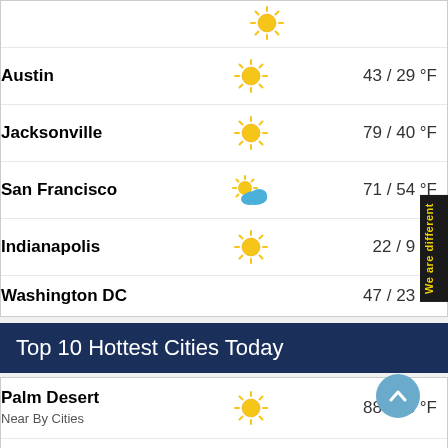Austin — 43 / 29 °F
Jacksonville — 79 / 40 °F
San Francisco — 71 / 54 °F
Indianapolis — 22 / 9 °F
Washington DC — 47 / 23 °F
Top 10 Hottest Cities Today
Palm Desert
Near By Cities — 88 / 56 °F
Colton
Near By Cities — 88 / 55 °F
Indio
Near By Cities — 88 / 56 °F
Lake Elsinore — 87 / 44 °F